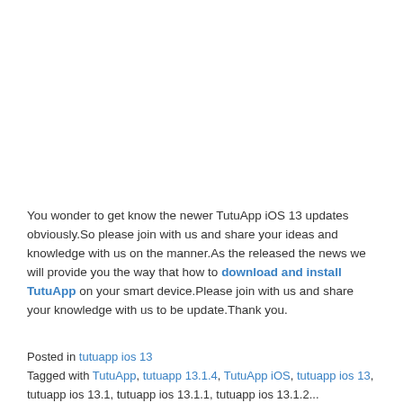You wonder to get know the newer TutuApp iOS 13 updates obviously.So please join with us and share your ideas and knowledge with us on the manner.As the released the news we will provide you the way that how to download and install TutuApp on your smart device.Please join with us and share your knowledge with us to be update.Thank you.
Posted in tutuapp ios 13
Tagged with TutuApp, tutuapp 13.1.4, TutuApp iOS, tutuapp ios 13, tutuapp ios 13.1, tutuapp ios 13.1.1, tutuapp ios 13.1.2...